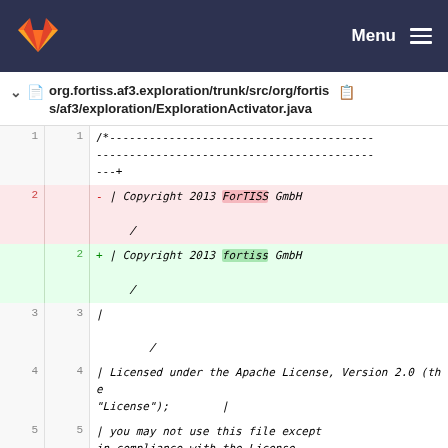Menu
org.fortiss.af3.exploration/trunk/src/org/fortiss/af3/exploration/ExplorationActivator.java
[Figure (screenshot): Diff view of ExplorationActivator.java showing line 1 with comment block start, line 2 deleted showing '| Copyright 2013 ForTISS GmbH' with ForTISS highlighted, line 2 added showing '| Copyright 2013 fortiss GmbH' with fortiss highlighted, line 3 unchanged '|', line 4 '| Licensed under the Apache License, Version 2.0 (the "License");', line 5 '| you may not use this file except in compliance with the License.']